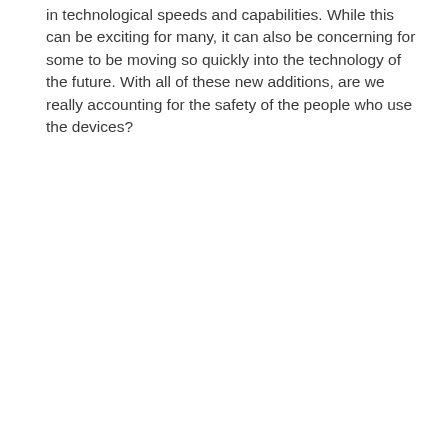in technological speeds and capabilities. While this can be exciting for many, it can also be concerning for some to be moving so quickly into the technology of the future. With all of these new additions, are we really accounting for the safety of the people who use the devices?